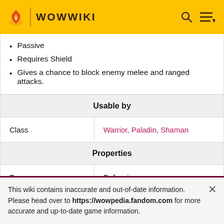WOWWIKI
Passive
Requires Shield
Gives a chance to block enemy melee and ranged attacks.
| Usable by |  |
| Class | Warrior, Paladin, Shaman |
| Properties |  |
| Type | Defensive |
| School | Physical |
This wiki contains inaccurate and out-of-date information. Please head over to https://wowpedia.fandom.com for more accurate and up-to-date game information.